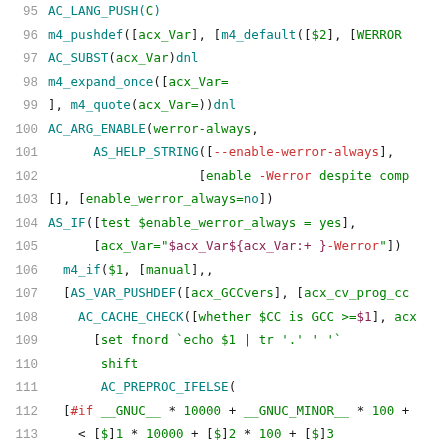[Figure (screenshot): Source code listing in a monospace code viewer showing lines 95-116 of an M4/autoconf macro file with syntax highlighting. Line numbers in gray on the left, code in teal/green/red colors on the right.]